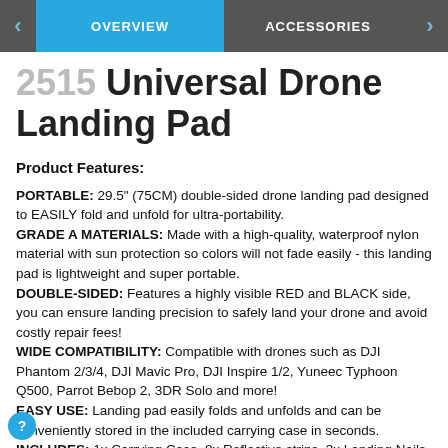OVERVIEW | ACCESSORIES
2515 Universal Drone Landing Pad
Product Features:
PORTABLE: 29.5" (75CM) double-sided drone landing pad designed to EASILY fold and unfold for ultra-portability.
GRADE A MATERIALS: Made with a high-quality, waterproof nylon material with sun protection so colors will not fade easily - this landing pad is lightweight and super portable.
DOUBLE-SIDED: Features a highly visible RED and BLACK side, you can ensure landing precision to safely land your drone and avoid costly repair fees!
WIDE COMPATIBILITY: Compatible with drones such as DJI Phantom 2/3/4, DJI Mavic Pro, DJI Inspire 1/2, Yuneec Typhoon Q500, Parrot Bebop 2, 3DR Solo and more!
EASY USE: Landing pad easily folds and unfolds and can be conveniently stored in the included carrying case in seconds.
INCLUDES: 1x Carrying Case, 8x Reflective strips, 3x Landing Nails. Carrying case provides easy storage and